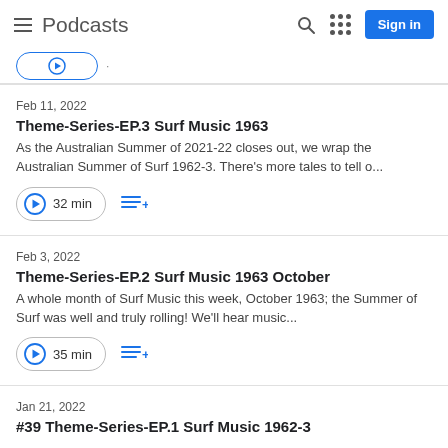Podcasts  Sign in
Feb 11, 2022
Theme-Series-EP.3 Surf Music 1963
As the Australian Summer of 2021-22 closes out, we wrap the Australian Summer of Surf 1962-3. There's more tales to tell o...
32 min
Feb 3, 2022
Theme-Series-EP.2 Surf Music 1963 October
A whole month of Surf Music this week, October 1963; the Summer of Surf was well and truly rolling! We'll hear music...
35 min
Jan 21, 2022
#39 Theme-Series-EP.1 Surf Music 1962-3